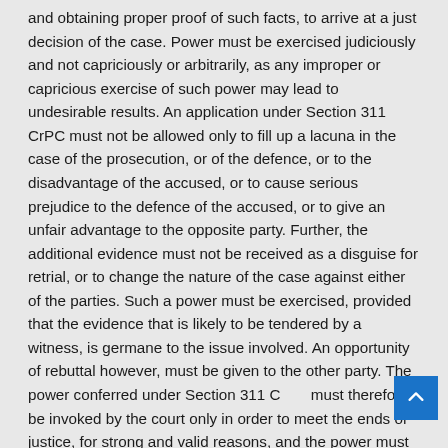and obtaining proper proof of such facts, to arrive at a just decision of the case. Power must be exercised judiciously and not capriciously or arbitrarily, as any improper or capricious exercise of such power may lead to undesirable results. An application under Section 311 CrPC must not be allowed only to fill up a lacuna in the case of the prosecution, or of the defence, or to the disadvantage of the accused, or to cause serious prejudice to the defence of the accused, or to give an unfair advantage to the opposite party. Further, the additional evidence must not be received as a disguise for retrial, or to change the nature of the case against either of the parties. Such a power must be exercised, provided that the evidence that is likely to be tendered by a witness, is germane to the issue involved. An opportunity of rebuttal however, must be given to the other party. The power conferred under Section 311 CrPC must therefore, be invoked by the court only in order to meet the ends of justice, for strong and valid reasons, and the power must be exercised with great caution and circumspection.